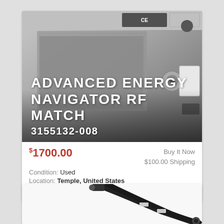[Figure (photo): Photo of Advanced Energy Navigator RF Match device (model 3155132-008), showing rear panel with ventilation grille, BNC connector, white component, and serial port. Overlaid with white bold text: ADVANCED ENERGY NAVIGATOR RF MATCH 3155132-008]
$1700.00  Buy It Now  $100.00 Shipping  Condition: Used  Location: Temple, United States  Advanced Energy Industries RF Match.
[Figure (photo): Partial photo of black RF coaxial cables with connectors visible at bottom of page.]